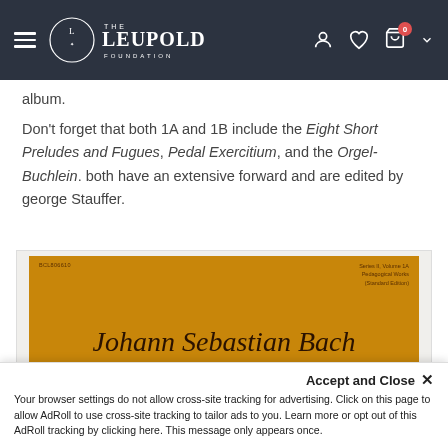THE LEUPOLD FOUNDATION
album.
Don't forget that both 1A and 1B include the Eight Short Preludes and Fugues, Pedal Exercitium, and the Orgel-Buchlein. both have an extensive forward and are edited by george Stauffer.
[Figure (photo): Book cover of Johann Sebastian Bach, golden/amber colored cover with script title text reading 'Johann Sebastian Bach' in dark brown italic script. Small text in top left and top right corners.]
Accept and Close ×
Your browser settings do not allow cross-site tracking for advertising. Click on this page to allow AdRoll to use cross-site tracking to tailor ads to you. Learn more or opt out of this AdRoll tracking by clicking here. This message only appears once.